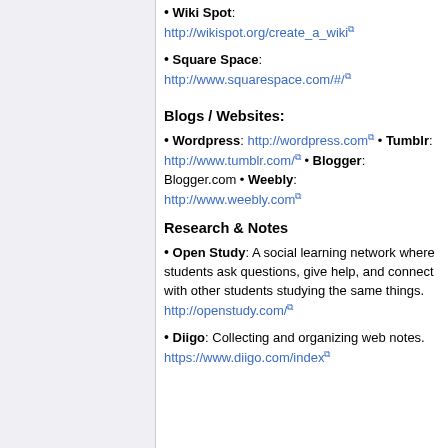Wiki Spot: http://wikispot.org/create_a_wiki
Square Space: http://www.squarespace.com/#/
Blogs / Websites:
Wordpress: http://wordpress.com • Tumblr: http://www.tumblr.com/ • Blogger: Blogger.com • Weebly: http://www.weebly.com
Research & Notes
Open Study: A social learning network where students ask questions, give help, and connect with other students studying the same things. http://openstudy.com/
Diigo: Collecting and organizing web notes. https://www.diigo.com/index